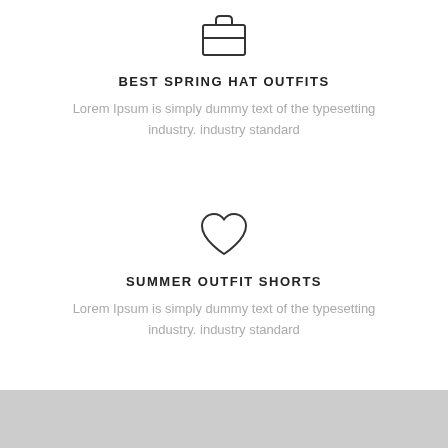[Figure (illustration): Briefcase/suitcase outline icon centered at top]
BEST SPRING HAT OUTFITS
Lorem Ipsum is simply dummy text of the typesetting industry. industry standard
[Figure (illustration): Heart outline icon centered in middle section]
SUMMER OUTFIT SHORTS
Lorem Ipsum is simply dummy text of the typesetting industry. industry standard